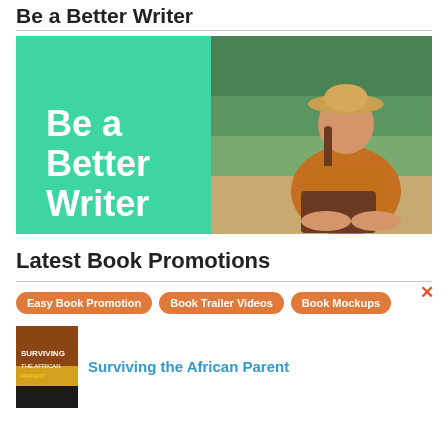Be a Better Writer
[Figure (illustration): Promotional banner split into two halves: left half is teal/mint green with bold white text 'Be a Better Writer'; right half shows a smiling woman in an orange dress and tan hat sitting cross-legged on a beach with a laptop.]
Latest Book Promotions
[Figure (other): Close (X) button in orange-red color]
Easy Book Promotion
Book Trailer Videos
Book Mockups
[Figure (photo): Book thumbnail cover image]
Surviving the African Parent